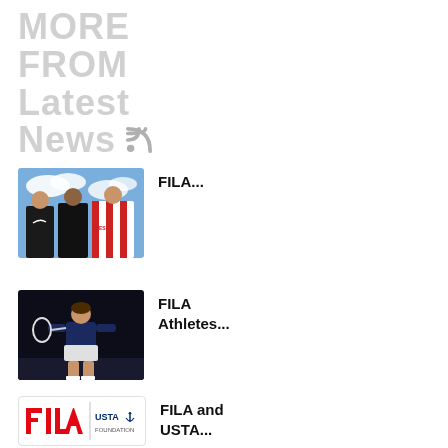MORE FROM Latest News
[Figure (photo): Three athletes posing in sports jerseys against a blue sky background, one wearing a red and white striped Diesel shirt]
FILA...
[Figure (photo): Female tennis player holding a racket against a dark background, wearing a navy blue FILA outfit]
FILA Athletes...
[Figure (logo): FILA logo in red on the left and USTA Foundation logo on the right, on a white background with a light border]
FILA and USTA...